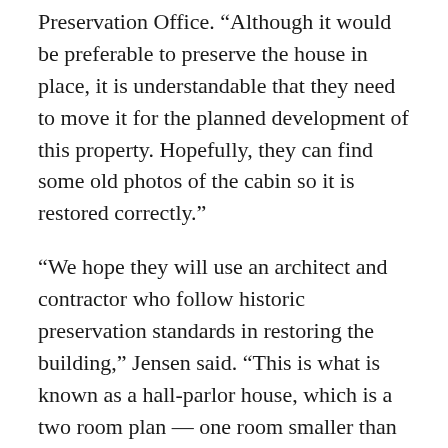Preservation Office. “Although it would be preferable to preserve the house in place, it is understandable that they need to move it for the planned development of this property. Hopefully, they can find some old photos of the cabin so it is restored correctly.”
“We hope they will use an architect and contractor who follow historic preservation standards in restoring the building,” Jensen said. “This is what is known as a hall-parlor house, which is a two room plan — one room smaller than the other. The plan is actually a medieval form from England that made its way to the U.S. Mormon converts then brought the house type to Utah where it became the most popular type in the state for most of the 19th century. Because of lack of trees, log houses were